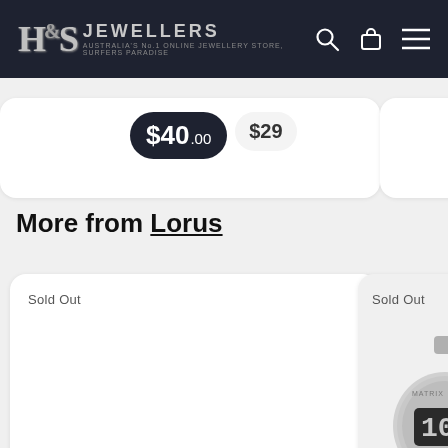[Figure (screenshot): H&S Jewellers website header with logo, search icon, bag icon, and hamburger menu on dark navy background]
$40.00  $29
$6
More from Lorus
Sold Out
[Figure (photo): Product card showing a digital watch, partially visible, with 'Sold Out' label]